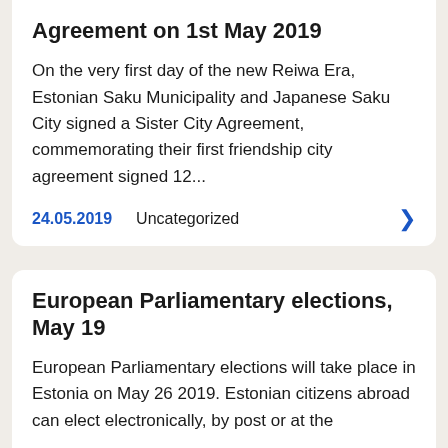Agreement on 1st May 2019
On the very first day of the new Reiwa Era, Estonian Saku Municipality and Japanese Saku City signed a Sister City Agreement, commemorating their first friendship city agreement signed 12...
24.05.2019    Uncategorized
European Parliamentary elections, May 19
European Parliamentary elections will take place in Estonia on May 26 2019. Estonian citizens abroad can elect electronically, by post or at the